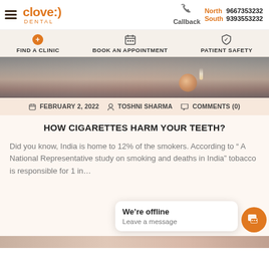clove:) DENTAL | Callback | North 9667353232 | South 9393553232
FIND A CLINIC
BOOK AN APPOINTMENT
PATIENT SAFETY
[Figure (photo): Close-up photo of a hand holding a lit cigarette, dark blurred background]
FEBRUARY 2, 2022   TOSHNI SHARMA   COMMENTS (0)
HOW CIGARETTES HARM YOUR TEETH?
Did you know, India is home to 12% of the smokers. According to “ A National Representative study on smoking and deaths in India” tobacco is responsible for 1 in…
We’re offline
Leave a message